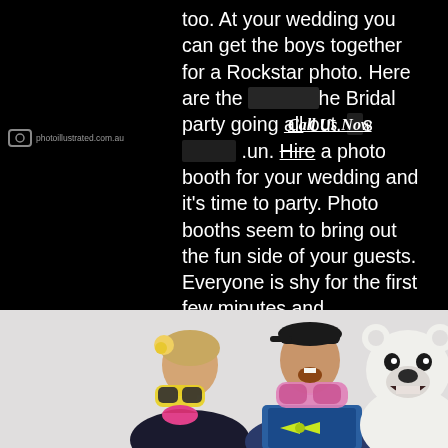too. At your wedding you can get the boys together for a Rockstar photo. Here are the images from the Bridal party going all out. ...s... ...un. Hire a photo booth for your wedding and it's time to party. Photo booths seem to bring out the fun side of your guests. Everyone is shy for the first few minutes and then....Look out. So to get your party started hire a photo booth from us and get ready. Plus you will have the
[Figure (photo): Photo booth picture showing two people holding fun props (novelty sunglasses, pink sunglasses, bow tie) with a polar bear costume head in the background, against a white backdrop.]